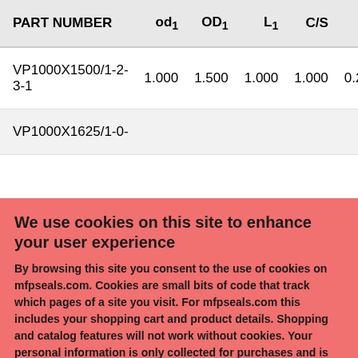| PART NUMBER | od₁ | OD₁ | L₁ | C/S | S |
| --- | --- | --- | --- | --- | --- |
| VP1000X1500/1-2-3-1 | 1.000 | 1.500 | 1.000 | 1.000 | 0.250 |
| VP1000X1625/1-0-... | ... | ... | ... | ... | ... |
We use cookies on this site to enhance your user experience

By browsing this site you consent to the use of cookies on mfpseals.com. Cookies are small bits of code that track which pages of a site you visit. For mfpseals.com this includes your shopping cart and product details. Shopping and catalog features will not work without cookies. Your personal information is only collected for purchases and is not shared with 3rd parties at any time. See the privacy policy for more information.